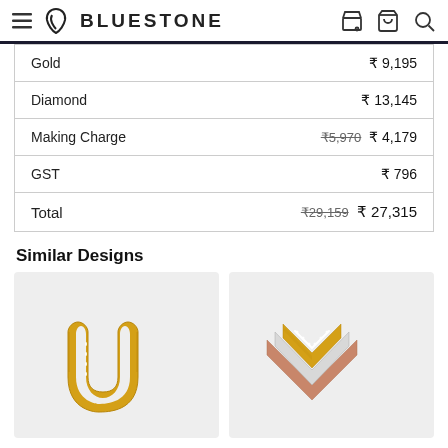BLUESTONE
| Item | Price |
| --- | --- |
| Gold | ₹ 9,195 |
| Diamond | ₹ 13,145 |
| Making Charge | ₹5,970  ₹ 4,179 |
| GST | ₹ 796 |
| Total | ₹29,159  ₹ 27,315 |
Similar Designs
[Figure (photo): Gold diamond ring with wave/U-shape design on light gray background]
[Figure (photo): Tri-color (yellow gold, rose gold, white gold) chevron/V-shape stackable ring on light gray background]